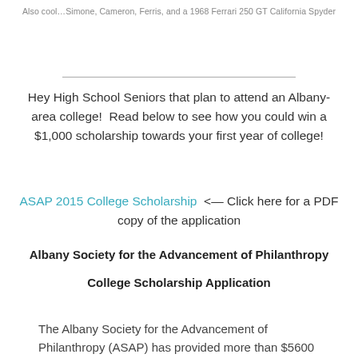Also cool…Simone, Cameron, Ferris, and a 1968 Ferrari 250 GT California Spyder
Hey High School Seniors that plan to attend an Albany-area college!  Read below to see how you could win a $1,000 scholarship towards your first year of college!
ASAP 2015 College Scholarship  <— Click here for a PDF copy of the application
Albany Society for the Advancement of Philanthropy
College Scholarship Application
The Albany Society for the Advancement of Philanthropy (ASAP) has provided more than $5600 in